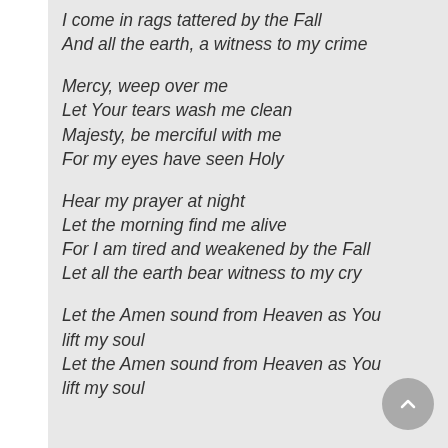I come in rags tattered by the Fall
And all the earth, a witness to my crime
Mercy, weep over me
Let Your tears wash me clean
Majesty, be merciful with me
For my eyes have seen Holy
Hear my prayer at night
Let the morning find me alive
For I am tired and weakened by the Fall
Let all the earth bear witness to my cry
Let the Amen sound from Heaven as You lift my soul
Let the Amen sound from Heaven as You lift my soul